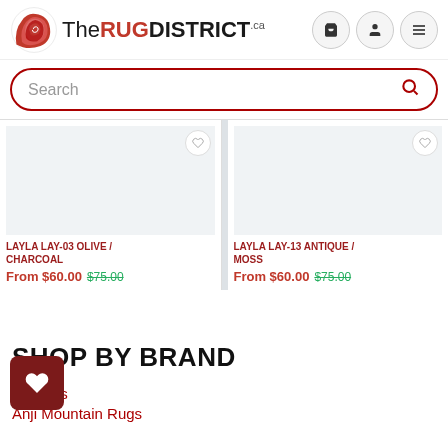[Figure (logo): The Rug District logo with red rolled rug icon and text]
Search
[Figure (screenshot): Product card: LAYLA LAY-03 OLIVE / CHARCOAL, From $60.00 $75.00]
[Figure (screenshot): Product card: LAYLA LAY-13 ANTIQUE / MOSS, From $60.00 $75.00]
SHOP BY BRAND
on Rugs
Anji Mountain Rugs